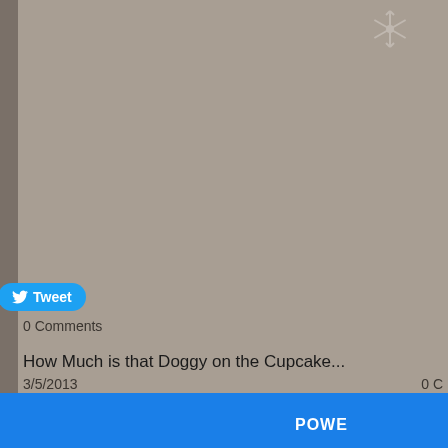[Figure (other): Snowflake/loading spinner icon in top right area of page]
[Figure (screenshot): Twitter Tweet button (blue rounded rectangle with bird icon and 'Tweet' text)]
0 Comments
How Much is that Doggy on the Cupcake...
3/5/2013
0 C
[Figure (photo): Box of dog-themed cupcakes with various dog face decorations]
I made cupcakes for
POWE